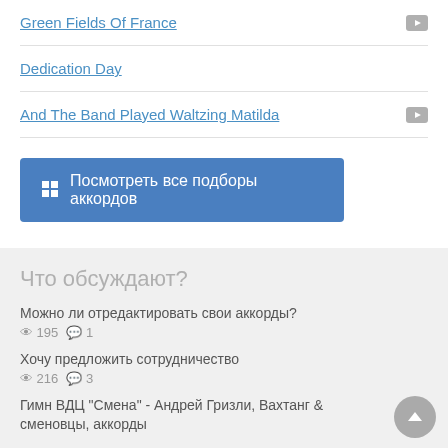Green Fields Of France
Dedication Day
And The Band Played Waltzing Matilda
Посмотреть все подборы аккордов
Что обсуждают?
Можно ли отредактировать свои аккорды? 195 views 1 comment
Хочу предложить сотрудничество 216 views 3 comments
Гимн ВДЦ "Смена" - Андрей Гризли, Вахтанг & сменовцы, аккорды